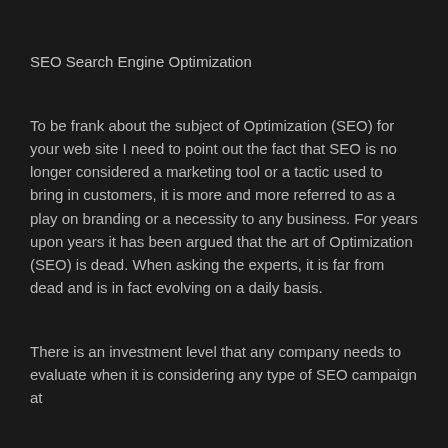SEO Search Engine Optimization
To be frank about the subject of Optimization (SEO) for your web site I need to point out the fact that SEO is no longer considered a marketing tool or a tactic used to bring in customers, it is more and more referred to as a play on branding or a necessity to any business. For years upon years it has been argued that the art of Optimization (SEO) is dead. When asking the experts, it is far from dead and is in fact evolving on a daily basis.
There is an investment level that any company needs to evaluate when it is considering any type of SEO campaign at